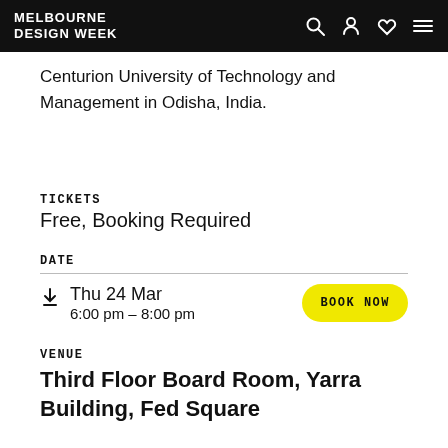MELBOURNE DESIGN WEEK
Centurion University of Technology and Management in Odisha, India.
TICKETS
Free, Booking Required
DATE
Thu 24 Mar
6:00 pm – 8:00 pm
VENUE
Third Floor Board Room, Yarra Building, Fed Square